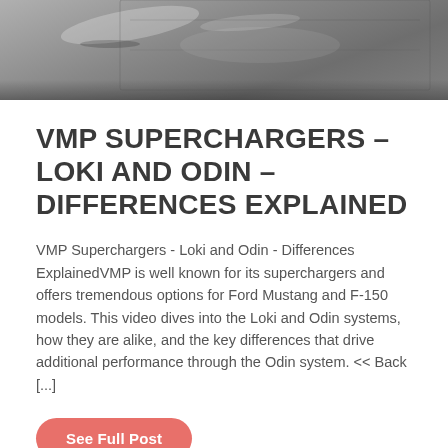[Figure (photo): Grayscale photo of a supercharger or automotive engine component, partially cropped at the top of the page]
VMP SUPERCHARGERS – LOKI AND ODIN – DIFFERENCES EXPLAINED
VMP Superchargers - Loki and Odin - Differences ExplainedVMP is well known for its superchargers and offers tremendous options for Ford Mustang and F-150 models. This video dives into the Loki and Odin systems, how they are alike, and the key differences that drive additional performance through the Odin system. << Back [...]
See Full Post